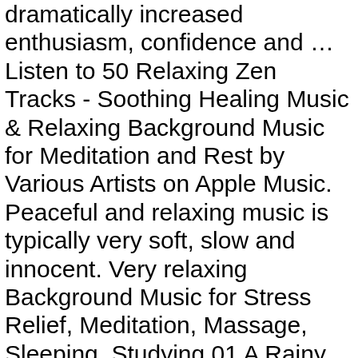dramatically increased enthusiasm, confidence and … Listen to 50 Relaxing Zen Tracks - Soothing Healing Music & Relaxing Background Music for Meditation and Rest by Various Artists on Apple Music. Peaceful and relaxing music is typically very soft, slow and innocent. Very relaxing Background Music for Stress Relief, Meditation, Massage, Sleeping, Studying 01 A Rainy Night 00:00 02 Dreams [Part I - Sax Version] 05:00 03 Thunder of Awakening 11:09 04 New day 17:54 05 A Warm Hug 21:25 06 Don't Think 27:41 07 Peace 31:43 08 Quite 35:55 09 Without Time 42:55 10 Only Time 47:56 11 Open the Door 50:02 12 Reflections 56:25 13 Meditations 01:01:21 … 1. Trump says 'certainly will' leave White House if Biden wins Electoral College votes. Hör dir Daily Yoga for Teens - Improves Body Image, Reduces Back Pain, Releases the Stress Blocks, Body Strong & Flexible, Calming Music von Healing Yoga Meditation Music Consort & Relaxing Music Master auf Apple Music an. 2017 Preview SONG TIME Relaxing